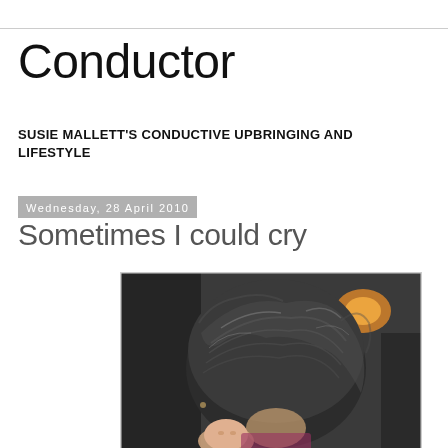Conductor
SUSIE MALLETT'S CONDUCTIVE UPBRINGING AND LIFESTYLE
Wednesday, 28 April 2010
Sometimes I could cry
[Figure (photo): Person with dark gray layered hair, head tilted down, small child visible at bottom corner, taken in dim indoor setting with warm light in background]